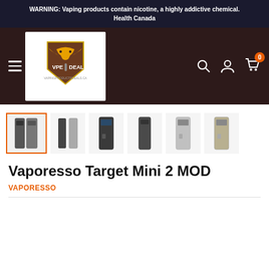WARNING: Vaping products contain nicotine, a highly addictive chemical. Health Canada
[Figure (logo): VPE Deals logo with dragon shield emblem and vape device graphic]
[Figure (photo): Product thumbnail strip showing 6 views of Vaporesso Target Mini 2 MOD in various colors/angles, first thumbnail selected with orange border]
Vaporesso Target Mini 2 MOD
VAPORESSO